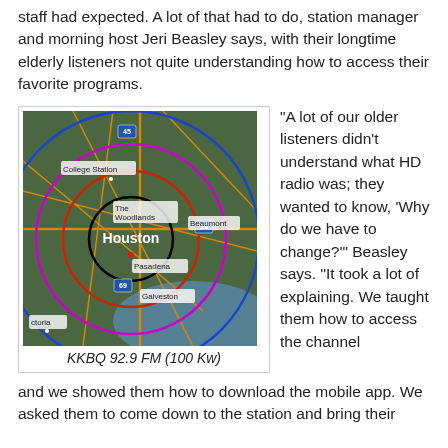staff had expected. A lot of that had to do, station manager and morning host Jeri Beasley says, with their longtime elderly listeners not quite understanding how to access their favorite programs.
[Figure (map): Satellite map of Houston TX area showing concentric circles (black, red, magenta, blue) representing radio broadcast coverage ranges centered near Houston/Pasadena. Cities labeled include College Station, The Woodlands, Beaumont, Houston, Pasadena, Galveston, Victoria. Highway markers 45, 10, 69 visible.]
KKBQ 92.9 FM (100 Kw)
“A lot of our older listeners didn’t understand what HD radio was; they wanted to know, ‘Why do we have to change?’” Beasley says. “It took a lot of explaining. We taught them how to access the channel and we showed them how to download the mobile app. We asked them to come down to the station and bring their
and we showed them how to download the mobile app. We asked them to come down to the station and bring their